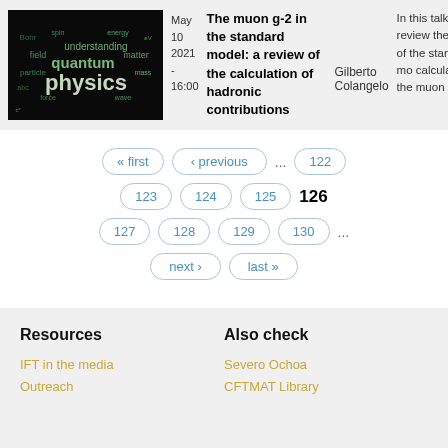[Figure (illustration): Word cloud image with physics-related terms like 'physics', 'quantum', 'understanding', 'field', 'matter', 'particle' on a dark background]
May 10 2021 - 16:00
The muon g-2 in the standard model: a review of the calculation of hadronic contributions
Gilberto Colangelo
In this talk I w review the status of the standard mo calculation of the muon g-2
« first  ‹ previous  ...  122  123  124  125  126  127  128  129  130  ...  next ›  last »
Resources
IFT in the media
Outreach
Also check
Severo Ochoa
CFTMAT Library